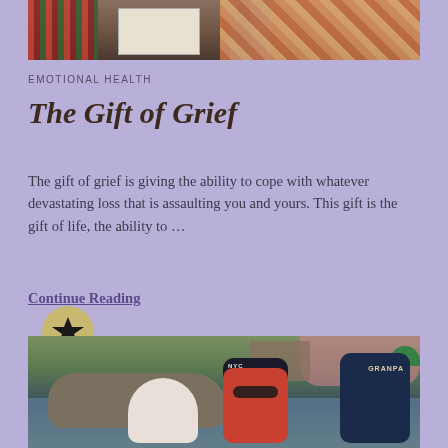[Figure (photo): Top cropped photo showing an indoor/outdoor market or event scene with plaid fabric, a banner/sign, and a figure in background]
EMOTIONAL HEALTH
The Gift of Grief
The gift of grief is giving the ability to cope with whatever devastating loss that is assaulting you and yours. This gift is the gift of life, the ability to …
Continue Reading
[Figure (photo): Photo of three people near a lake or water feature with large rocks, a boy in a red shirt and NYC cap with sunglasses, a person with white hair, and a person in a GRANPA navy cap]